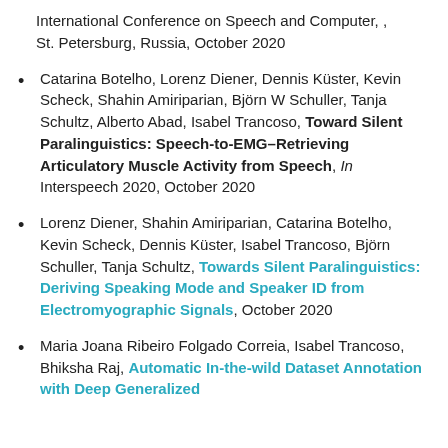International Conference on Speech and Computer, , St. Petersburg, Russia, October 2020
Catarina Botelho, Lorenz Diener, Dennis Küster, Kevin Scheck, Shahin Amiriparian, Björn W Schuller, Tanja Schultz, Alberto Abad, Isabel Trancoso, Toward Silent Paralinguistics: Speech-to-EMG–Retrieving Articulatory Muscle Activity from Speech, In Interspeech 2020, October 2020
Lorenz Diener, Shahin Amiriparian, Catarina Botelho, Kevin Scheck, Dennis Küster, Isabel Trancoso, Björn Schuller, Tanja Schultz, Towards Silent Paralinguistics: Deriving Speaking Mode and Speaker ID from Electromyographic Signals, October 2020
Maria Joana Ribeiro Folgado Correia, Isabel Trancoso, Bhiksha Raj, Automatic In-the-wild Dataset Annotation with Deep Generalized